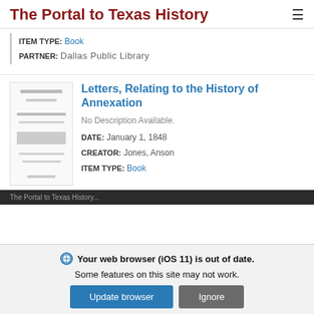The Portal to Texas History
ITEM TYPE: Book
PARTNER: Dallas Public Library
Letters, Relating to the History of Annexation
No Description Available.
DATE: January 1, 1848
CREATOR: Jones, Anson
ITEM TYPE: Book
Your web browser (iOS 11) is out of date. Some features on this site may not work.
Update browser
Ignore